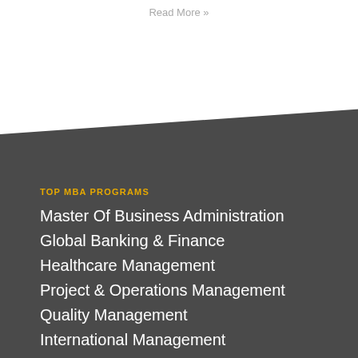Read More »
TOP MBA PROGRAMS
Master Of Business Administration
Global Banking & Finance
Healthcare Management
Project & Operations Management
Quality Management
International Management